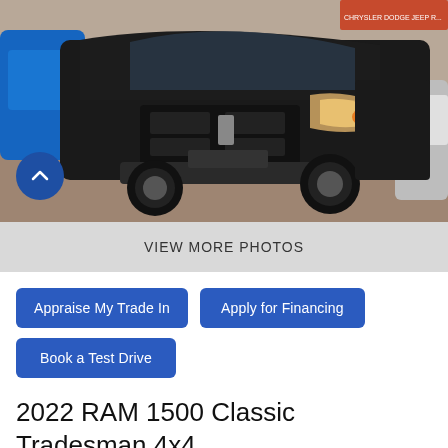[Figure (photo): Black 2022 RAM 1500 Classic Tradesman 4x4 Crew Cab pickup truck photographed at a dealership lot, front 3/4 view. Other vehicles visible including a blue car on the left and a silver vehicle on the right. A back-to-top chevron button overlays the lower-left of the image.]
VIEW MORE PHOTOS
Appraise My Trade In
Apply for Financing
Book a Test Drive
2022 RAM 1500 Classic Tradesman 4x4 Crew Cab 5.6 ft. box